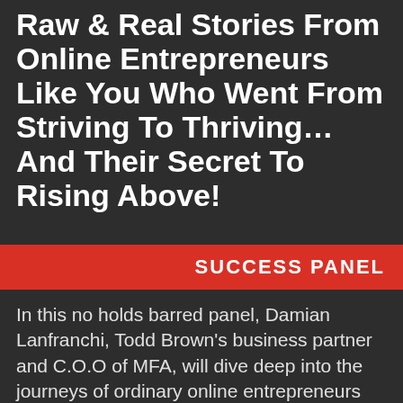Raw & Real Stories From Online Entrepreneurs Like You Who Went From Striving To Thriving... And Their Secret To Rising Above!
SUCCESS PANEL
In this no holds barred panel, Damian Lanfranchi, Todd Brown's business partner and C.O.O of MFA, will dive deep into the journeys of ordinary online entrepreneurs and marketers who've gone from struggling... to achieving their dreams of having a WILDLY